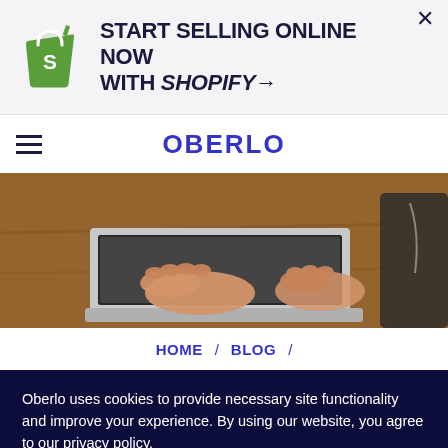[Figure (infographic): Shopify advertisement banner with Shopify bag logo and text 'START SELLING ONLINE NOW WITH SHOPIFY→' and a close X button]
OBERLO
[Figure (photo): Person's hands typing on a laptop keyboard on a wooden desk]
HOME / BLOG /
Oberlo uses cookies to provide necessary site functionality and improve your experience. By using our website, you agree to our privacy policy.
Reject   ACCEPT